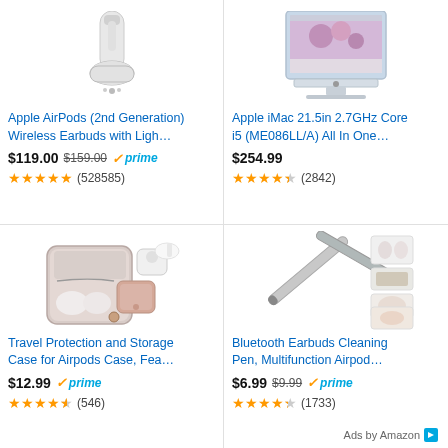[Figure (photo): Apple AirPods product image - white earbuds with charging case]
Apple AirPods (2nd Generation) Wireless Earbuds with Ligh…
$119.00 $159.00 ✓prime
★★★★★ (528585)
[Figure (photo): Apple iMac 21.5in desktop computer with floral wallpaper]
Apple iMac 21.5in 2.7GHz Core i5 (ME086LL/A) All In One…
$254.99
★★★★☆ (2842)
[Figure (photo): Travel Protection and Storage Case for Airpods, rose gold and grey]
Travel Protection and Storage Case for Airpods Case, Fea…
$12.99 ✓prime
★★★★☆ (546)
[Figure (photo): Bluetooth Earbuds Cleaning Pen with multiple cleaning accessories]
Bluetooth Earbuds Cleaning Pen, Multifunction Airpod…
$6.99 $9.99 ✓prime
★★★★☆ (1733)
Ads by Amazon ▷